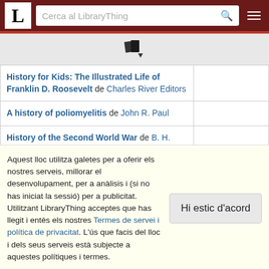L — Cerca al LibraryThing
[Figure (other): Book/library icon with dropdown arrow]
| Book Title |  |
| --- | --- |
| History for Kids: The Illustrated Life of Franklin D. Roosevelt de Charles River Editors |  |
| A history of poliomyelitis de John R. Paul |  |
| History of the Second World War de B. H. Liddell Hart |  |
| Hitler vs. Roosevelt: The Undeclared Naval War de Thomas A. Bailey |  |
| Hitler's Peace de Philip Kerr |  |
Aquest lloc utilitza galetes per a oferir els nostres serveis, millorar el desenvolupament, per a anàlisis i (si no has iniciat la sessió) per a publicitat. Utilitzant LibraryThing acceptes que has llegit i entès els nostres Termes de servei i política de privacitat. L'ús que facis del lloc i dels seus serveis està subjecte a aquestes polítiques i termes.